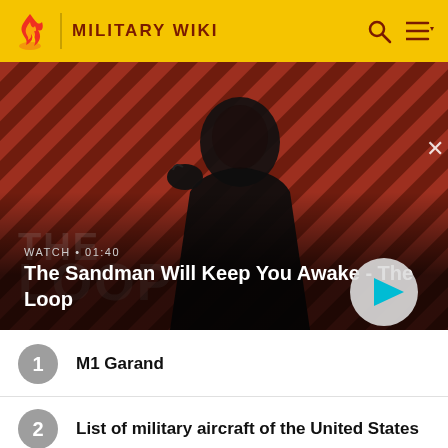MILITARY WIKI
[Figure (screenshot): Video banner showing a dark figure in a black coat with a raven on his shoulder, against a red diagonal-striped background. Text overlay reads WATCH • 01:40 and The Sandman Will Keep You Awake - The Loop, with a play button on the right.]
1  M1 Garand
2  List of military aircraft of the United States